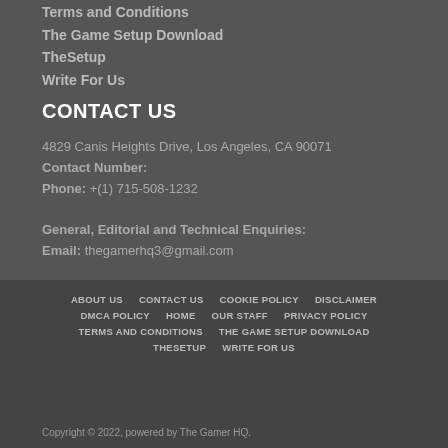Terms and Conditions
The Game Setup Download
TheSetup
Write For Us
CONTACT US
4829 Canis Heights Drive, Los Angeles, CA 90071
Contact Number:
Phone: +(1) 715-508-1232

General, Editorial and Technical Enquiries:
Email: thegamerhq3@gmail.com
ABOUT US   CONTACT US   COOKIE POLICY   DISCLAIMER
DMCA POLICY   HOME   OUR STAFF   PRIVACY POLICY
TERMS AND CONDITIONS   THE GAME SETUP DOWNLOAD
THESETUP   WRITE FOR US
Copyright © 2022, powered by The Gamer HQ.